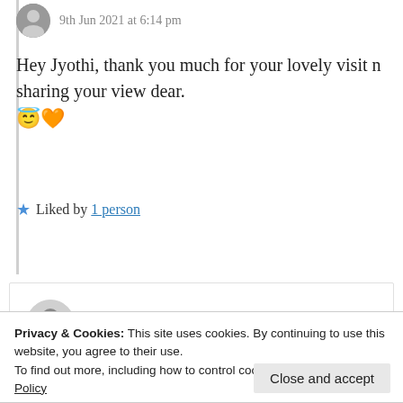9th Jun 2021 at 6:14 pm
Hey Jyothi, thank you much for your lovely visit n sharing your view dear. 😇🧡
★ Liked by 1 person
Log in to Reply
vaniheart
Privacy & Cookies: This site uses cookies. By continuing to use this website, you agree to their use. To find out more, including how to control cookies, see here: Cookie Policy
Close and accept